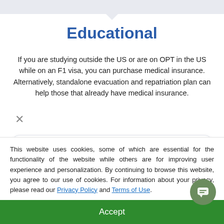Educational
If you are studying outside the US or are on OPT in the US while on an F1 visa, you can purchase medical insurance. Alternatively, standalone evacuation and repatriation plan can help those that already have medical insurance.
Study Abroad
If you are studying abroad for any duration, study abroad insurance can...
This website uses cookies, some of which are essential for the functionality of the website while others are for improving user experience and personalization. By continuing to browse this website, you agree to our use of cookies. For information about your privacy, please read our Privacy Policy and Terms of Use.